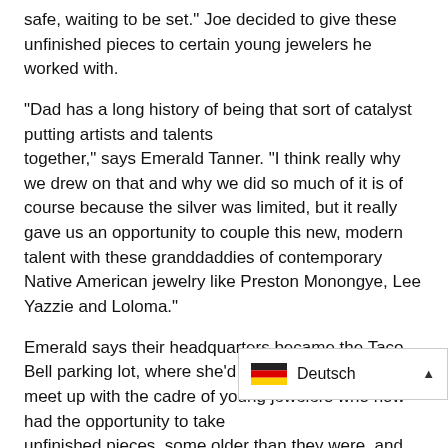safe, waiting to be set." Joe decided to give these unfinished pieces to certain young jewelers he worked with.
“Dad has a long history of being that sort of catalyst putting artists and talents together,” says Emerald Tanner. “I think really why we drew on that and why we did so much of it is of course because the silver was limited, but it really gave us an opportunity to couple this new, modern talent with these granddaddies of contemporary Native American jewelry like Preston Monongye, Lee Yazzie and Loloma.”
Emerald says their headquarters became the Taco Bell parking lot, where she'd meet up with the cadre of young jewelers who now had the opportunity to take unfinished pieces, some older than they were, and bring these pieces to life.
“That's what really sparked the concept,” sa something we felt could be our contribution to keeping these artists that